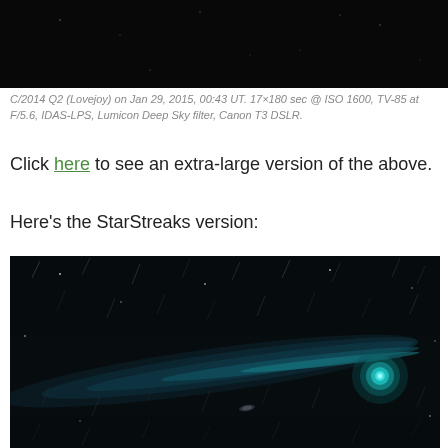[Figure (photo): Astronomy photograph of Comet C/2014 Q2 (Lovejoy) against a dark night sky — top portion of image visible at top of page]
C/2014 Q2 (Lovejoy) on Jan 29, 2015, 00:43 UT. 17×180 sec @ ISO 1600, TV-85 at F/5.6, IDAS-LPS, Lumicon Deep Sky filter, Canon T3 DSLR.
Click here to see an extra-large version of the above.
Here's the StarStreaks version:
[Figure (photo): Astronomy photograph showing Comet C/2014 Q2 (Lovejoy) with StarStreaks processing — comet with bright cyan/green nucleus and tail extending to left, with star streaks visible throughout the dark field]